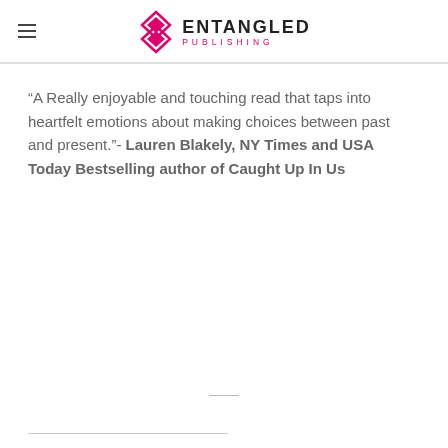[Figure (logo): Entangled Publishing logo with pink diamond shape and text 'ENTANGLED PUBLISHING']
“A Really enjoyable and touching read that taps into heartfelt emotions about making choices between past and present.”- Lauren Blakely, NY Times and USA Today Bestselling author of Caught Up In Us